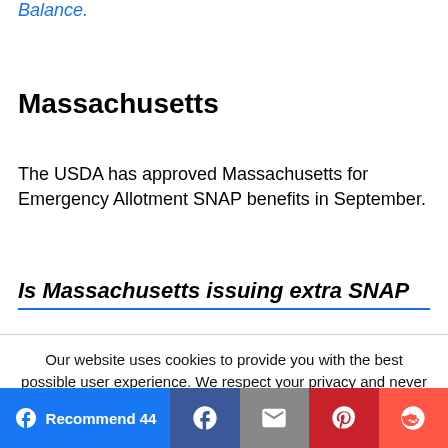Balance.
Massachusetts
The USDA has approved Massachusetts for Emergency Allotment SNAP benefits in September.
Is Massachusetts issuing extra SNAP
Our website uses cookies to provide you with the best possible user experience. We respect your privacy and never share your information.
Learn More  Accept
Recommend 44